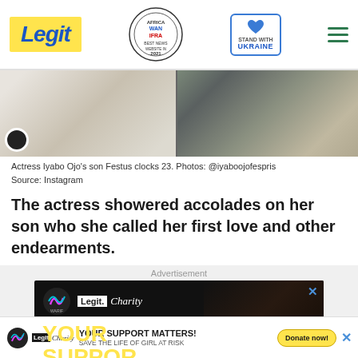Legit | WAN IFRA 2021 Best News Website in Africa | STAND WITH UKRAINE
[Figure (photo): Photo strip showing Actress Iyabo Ojo's son Festus at birthday celebration, two side-by-side photos]
Actress Iyabo Ojo's son Festus clocks 23. Photos: @iyaboojofespris
Source: Instagram
The actress showered accolades on her son who she called her first love and other endearments.
Advertisement
[Figure (screenshot): Legit.ng Charity advertisement - YOUR SUPPORT with WARIF charity logo and woman in distress photo]
[Figure (screenshot): Bottom banner ad: YOUR SUPPORT MATTERS! SAVE THE LIFE OF GIRL AT RISK - Legit Charity / WARIF with Donate now! button]